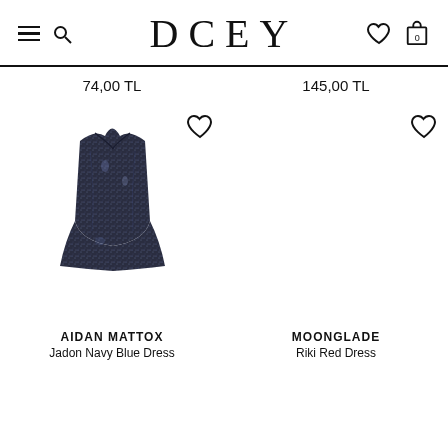DCEY — navigation header with hamburger menu, search, wishlist heart, and cart bag icons
74,00 TL
145,00 TL
[Figure (photo): Navy blue sparkly strapless mini dress with V-neckline against white background]
[Figure (other): Empty product image area for Moonglade Riki Red Dress]
AIDAN MATTOX
Jadon Navy Blue Dress
MOONGLADE
Riki Red Dress